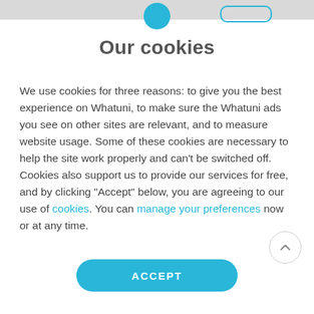Our cookies
We use cookies for three reasons: to give you the best experience on Whatuni, to make sure the Whatuni ads you see on other sites are relevant, and to measure website usage. Some of these cookies are necessary to help the site work properly and can't be switched off. Cookies also support us to provide our services for free, and by clicking "Accept" below, you are agreeing to our use of cookies. You can manage your preferences now or at any time.
ACCEPT